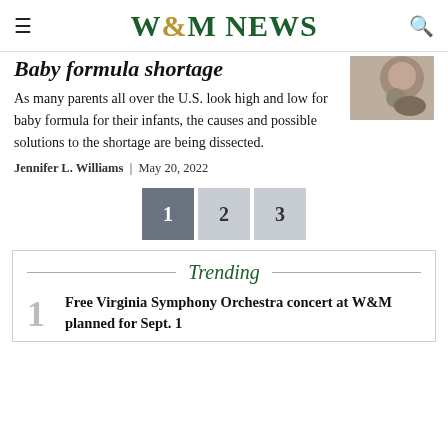W&M NEWS
Baby formula shortage
As many parents all over the U.S. look high and low for baby formula for their infants, the causes and possible solutions to the shortage are being dissected.
Jennifer L. Williams | May 20, 2022
[Figure (photo): Close-up photo of a baby feeding]
1 2 3 (pagination)
Trending
1 Free Virginia Symphony Orchestra concert at W&M planned for Sept. 1